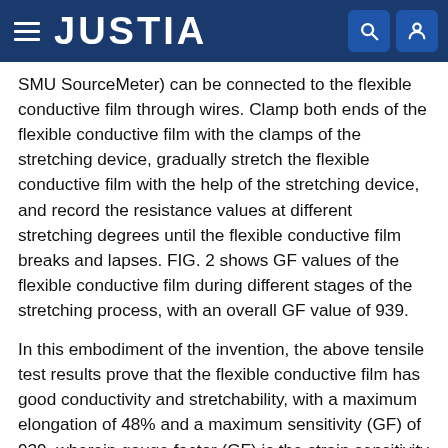JUSTIA
SMU SourceMeter) can be connected to the flexible conductive film through wires. Clamp both ends of the flexible conductive film with the clamps of the stretching device, gradually stretch the flexible conductive film with the help of the stretching device, and record the resistance values at different stretching degrees until the flexible conductive film breaks and lapses. FIG. 2 shows GF values of the flexible conductive film during different stages of the stretching process, with an overall GF value of 939.
In this embodiment of the invention, the above tensile test results prove that the flexible conductive film has good conductivity and stretchability, with a maximum elongation of 48% and a maximum sensitivity (GF) of 939, wherein gauge factor (GF) is the strain sensitivity coefficient, defined as GF=[(R−R0)/R0]/[(L−L0)/L0]. R0 and R